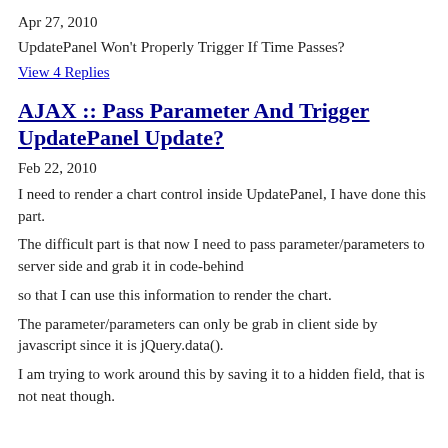Apr 27, 2010
UpdatePanel Won't Properly Trigger If Time Passes?
View 4 Replies
AJAX :: Pass Parameter And Trigger UpdatePanel Update?
Feb 22, 2010
I need to render a chart control inside UpdatePanel, I have done this part.
The difficult part is that now I need to pass parameter/parameters to server side and grab it in code-behind
so that I can use this information to render the chart.
The parameter/parameters can only be grab in client side by javascript since it is jQuery.data().
I am trying to work around this by saving it to a hidden field, that is not neat though.